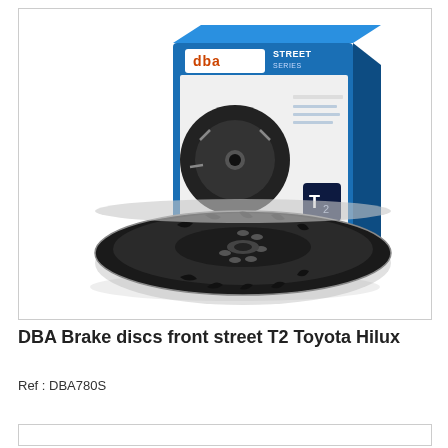[Figure (photo): DBA Street Series T2 brake disc product photo showing the packaging box with DBA logo and Street Series branding, alongside two slotted brake discs — one standing upright behind the box and one lying flat in the foreground.]
DBA Brake discs front street T2 Toyota Hilux
Ref : DBA780S